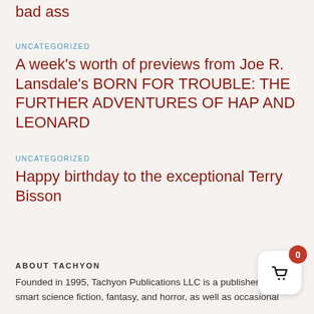bad ass
UNCATEGORIZED
A week's worth of previews from Joe R. Lansdale's BORN FOR TROUBLE: THE FURTHER ADVENTURES OF HAP AND LEONARD
UNCATEGORIZED
Happy birthday to the exceptional Terry Bisson
ABOUT TACHYON
Founded in 1995, Tachyon Publications LLC is a publisher of smart science fiction, fantasy, and horror, as well as occasional